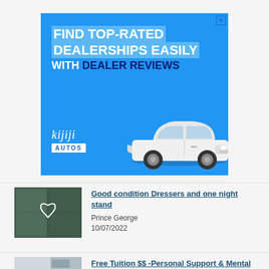[Figure (illustration): Kijiji Autos advertisement banner with blue background. Text reads: FIND TOP-RATED DEALERSHIPS EASILY WITH DEALER REVIEWS. Kijiji Autos logo at bottom left. White Honda Civic car image at bottom right.]
[Figure (photo): Thumbnail photo of dark green/teal furniture (dressers) with a heart outline icon overlay.]
Good condition Dressers and one night stand
Prince George
10/07/2022
[Figure (photo): Partially visible thumbnail for second listing.]
Free Tuition $$ -Personal Support & Mental